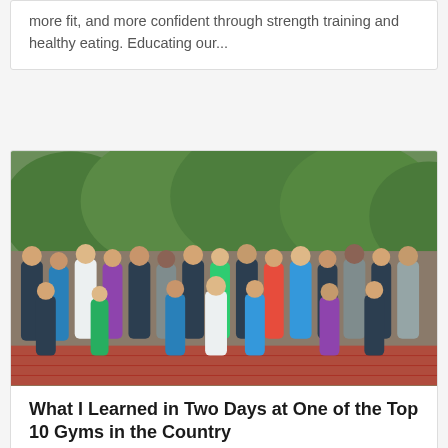more fit, and more confident through strength training and healthy eating. Educating our...
[Figure (photo): Group photo of approximately 25-30 fitness professionals or gym members standing together outdoors, with green trees in the background and a brick/red ledge at their feet.]
What I Learned in Two Days at One of the Top 10 Gyms in the Country
by Devin Gray, CSCS | Mar 23, 2018 | Blog